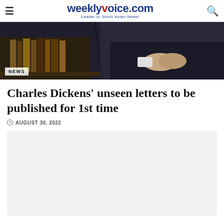weeklyvoice.com — Leader In South Asian News!
[Figure (photo): Dark photo showing books on a shelf on the left and a person in a dark jacket with hands clasped on the right. NEWS badge in lower left corner.]
Charles Dickens' unseen letters to be published for 1st time
AUGUST 30, 2022
[Figure (other): Advertisement placeholder — light gray rectangle]